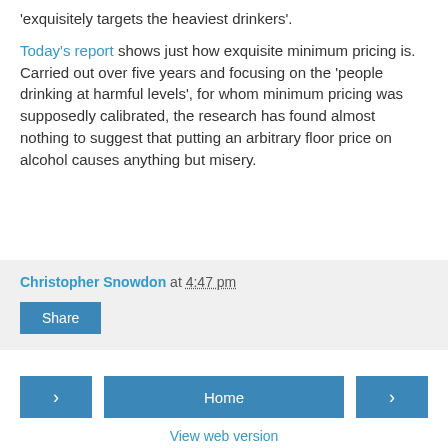'exquisitely targets the heaviest drinkers'.
Today's report shows just how exquisite minimum pricing is. Carried out over five years and focusing on the 'people drinking at harmful levels', for whom minimum pricing was supposedly calibrated, the research has found almost nothing to suggest that putting an arbitrary floor price on alcohol causes anything but misery.
Christopher Snowdon at 4:47 pm
Share
Home
View web version